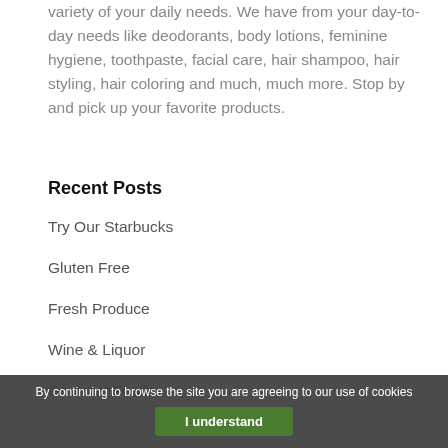variety of your daily needs. We have from your day-to-day needs like deodorants, body lotions, feminine hygiene, toothpaste, facial care, hair shampoo, hair styling, hair coloring and much, much more. Stop by and pick up your favorite products.
Recent Posts
Try Our Starbucks
Gluten Free
Fresh Produce
Wine & Liquor
Gourmet Foods
Recent Comments
By continuing to browse the site you are agreeing to our use of cookies
I understand